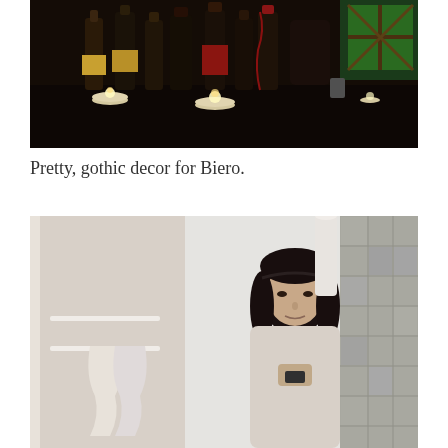[Figure (photo): Dark atmospheric photo of beer/wine bottles with candles on a black table, gothic decor setting with green lit window in background]
Pretty, gothic decor for Biero.
[Figure (photo): Person taking a selfie in a steamy bathroom mirror, dark long hair, holding a camera/phone, frosted glass partition visible, tiled wall on the right]